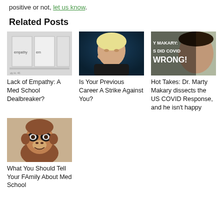positive or not, let us know.
Related Posts
[Figure (photo): Product boxes labeled 'empathy' on a shelf]
Lack of Empathy: A Med School Dealbreaker?
[Figure (photo): A woman with blonde hair looking down]
Is Your Previous Career A Strike Against You?
[Figure (photo): Man with text overlay: MAKARY: S DID COVID WRONG!]
Hot Takes: Dr. Marty Makary dissects the US COVID Response, and he isn't happy
[Figure (photo): A small monkey or ape puppet/toy looking at camera]
What You Should Tell Your FAmily About Med School